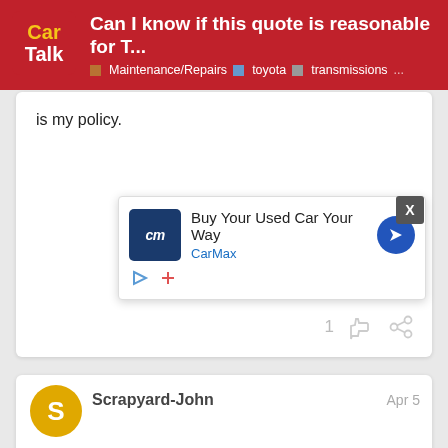Can I know if this quote is reasonable for T... | Maintenance/Repairs · toyota · transmissions ...
is my policy.
Scrapyard-John  Apr 5
Nevada_545:
No brake inspections performed over the phone, th...
But y... same... to inspe... ...eded
[Figure (screenshot): CarMax advertisement overlay: 'Buy Your Used Car Your Way' with CarMax logo and blue navigation arrow icon]